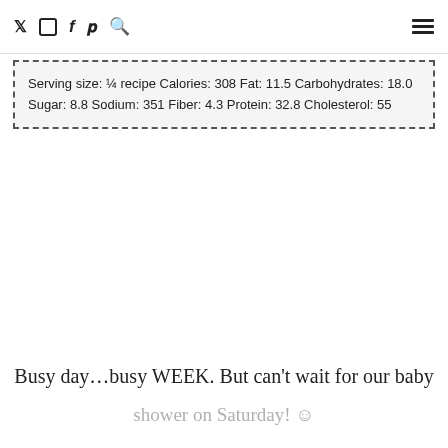Twitter Instagram Facebook Pinterest Search [hamburger menu]
Nutrition Information
Serving size: ¼ recipe Calories: 308 Fat: 11.5 Carbohydrates: 18.0 Sugar: 8.8 Sodium: 351 Fiber: 4.3 Protein: 32.8 Cholesterol: 55
Busy day…busy WEEK. But can't wait for our baby shower on Saturday! ☺